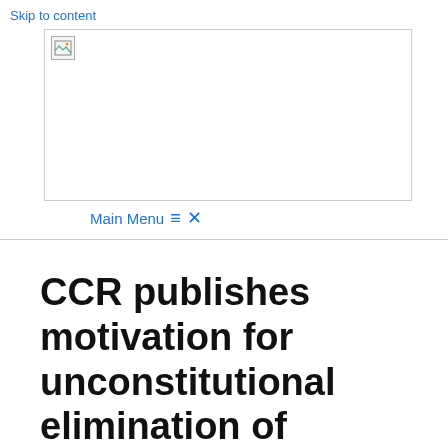Skip to content
[Figure (other): Website header logo image placeholder (broken image icon in bordered box)]
Main Menu ☰ ✕
CCR publishes motivation for unconstitutional elimination of parliamentarians' pensions: